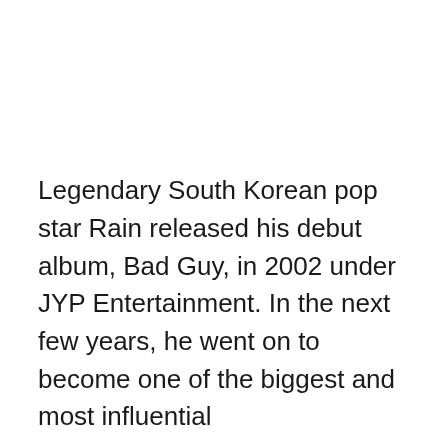Legendary South Korean pop star Rain released his debut album, Bad Guy, in 2002 under JYP Entertainment. In the next few years, he went on to become one of the biggest and most influential